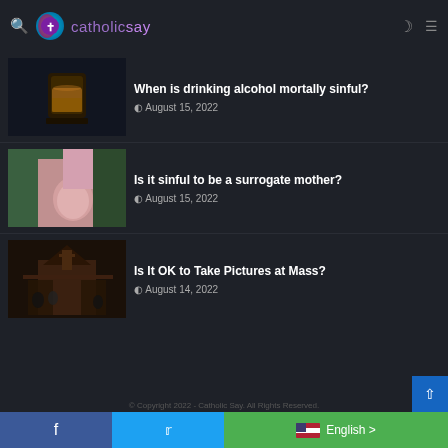catholicsay
When is drinking alcohol mortally sinful? — August 15, 2022
Is it sinful to be a surrogate mother? — August 15, 2022
Is It OK to Take Pictures at Mass? — August 14, 2022
© Copyright 2022 - Catholic Say. All Rights Reserved.
English